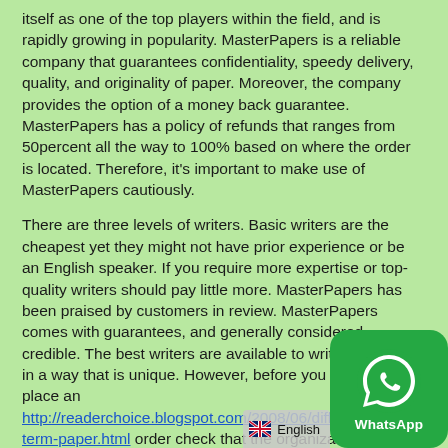itself as one of the top players within the field, and is rapidly growing in popularity. MasterPapers is a reliable company that guarantees confidentiality, speedy delivery, quality, and originality of paper. Moreover, the company provides the option of a money back guarantee. MasterPapers has a policy of refunds that ranges from 50percent all the way to 100% based on where the order is located. Therefore, it's important to make use of MasterPapers cautiously.
There are three levels of writers. Basic writers are the cheapest yet they might not have prior experience or be an English speaker. If you require more expertise or top-quality writers should pay little more. MasterPapers has been praised by customers in review. MasterPapers comes with guarantees, and generally considered credible. The best writers are available to write your essay in a way that is unique. However, before you proceed to place an http://readerchoice.blogspot.com/2008/06/different-term-paper.html order check that the organization conditions and has a solid guarantee.
[Figure (logo): WhatsApp green rounded square logo with white phone handset icon and 'WhatsApp' label in white text]
[Figure (infographic): English language badge with UK flag emoji and 'English' text]